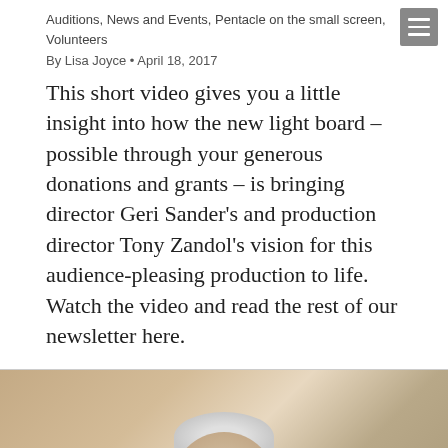Auditions, News and Events, Pentacle on the small screen, Volunteers
By Lisa Joyce • April 18, 2017
This short video gives you a little insight into how the new light board – possible through your generous donations and grants – is bringing director Geri Sander's and production director Tony Zandol's vision for this audience-pleasing production to life. Watch the video and read the rest of our newsletter here.
[Figure (photo): Photo of a person with gray/silver hair seen from above/behind in what appears to be an indoor room setting]